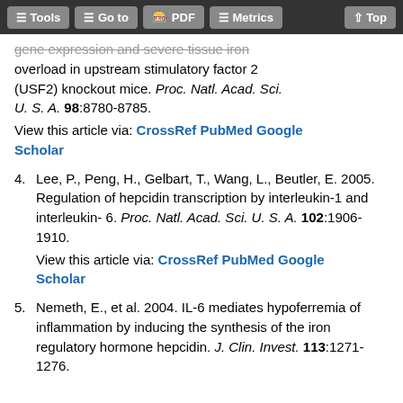Tools | Go to | PDF | Metrics | Top
gene expression and severe tissue iron overload in upstream stimulatory factor 2 (USF2) knockout mice. Proc. Natl. Acad. Sci. U. S. A. 98:8780-8785.
View this article via: CrossRef PubMed Google Scholar
4. Lee, P., Peng, H., Gelbart, T., Wang, L., Beutler, E. 2005. Regulation of hepcidin transcription by interleukin-1 and interleukin-6. Proc. Natl. Acad. Sci. U. S. A. 102:1906-1910.
View this article via: CrossRef PubMed Google Scholar
5. Nemeth, E., et al. 2004. IL-6 mediates hypoferremia of inflammation by inducing the synthesis of the iron regulatory hormone hepcidin. J. Clin. Invest. 113:1271-1276.